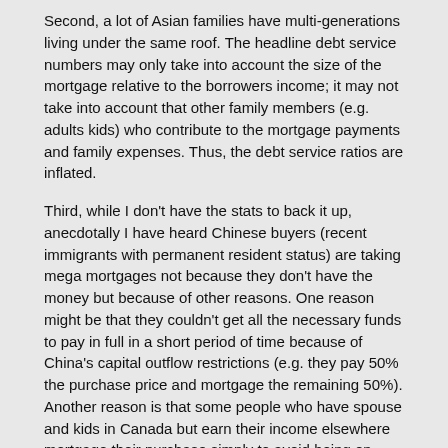Second, a lot of Asian families have multi-generations living under the same roof. The headline debt service numbers may only take into account the size of the mortgage relative to the borrowers income; it may not take into account that other family members (e.g. adults kids) who contribute to the mortgage payments and family expenses. Thus, the debt service ratios are inflated.
Third, while I don't have the stats to back it up, anecdotally I have heard Chinese buyers (recent immigrants with permanent resident status) are taking mega mortgages not because they don't have the money but because of other reasons. One reason might be that they couldn't get all the necessary funds to pay in full in a short period of time because of China's capital outflow restrictions (e.g. they pay 50% the purchase price and mortgage the remaining 50%). Another reason is that some people who have spouse and kids in Canada but earn their income elsewhere mortgage their purchase simply to avoid being on CRA's radar. A lot of these people declare zero income in Canada and are smart enough not to pay for the full purchase in cash will deliberately take out hefty mortgages. One might ask how does one get a hefty mortgage if he has no income in Canada. Just as there are many ways to skirt China's capital control, there are many ways to secure a mortgage with zero income. One approach is to personally guarantee your own mortgage with investments held outside the country. For example, one could obtain a mortgage from a bank